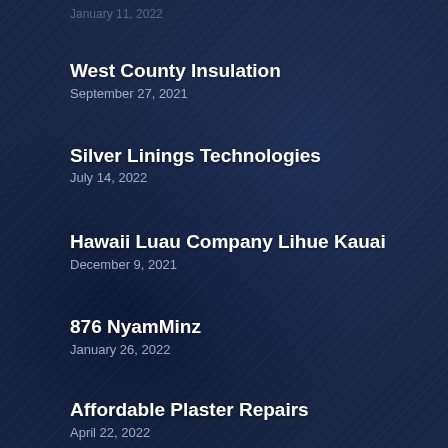[partially visible date — clipped at top]
West County Insulation
September 27, 2021
Silver Linings Technologies
July 14, 2022
Hawaii Luau Company Lihue Kauai
December 9, 2021
876 NyamMinz
January 26, 2022
Affordable Plaster Repairs
April 22, 2022